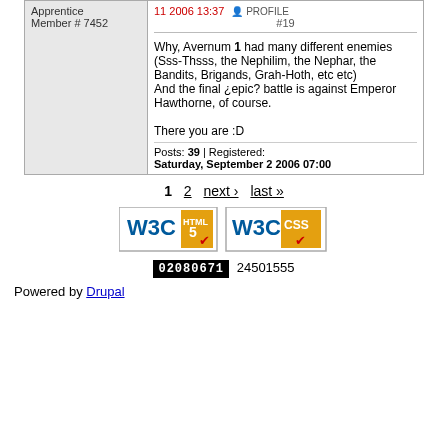| User Info | Post Content |
| --- | --- |
| Apprentice
Member # 7452 | 11 2006 13:37 PROFILE
#19
Why, Avernum 1 had many different enemies (Sss-Thsss, the Nephilim, the Nephar, the Bandits, Brigands, Grah-Hoth, etc etc)
And the final ¿epic? battle is against Emperor Hawthorne, of course.

There you are :D

Posts: 39 | Registered: Saturday, September 2 2006 07:00 |
1  2  next ›  last »
[Figure (logo): W3C HTML5 valid badge and W3C CSS valid badge]
02080671 24501555
Powered by Drupal